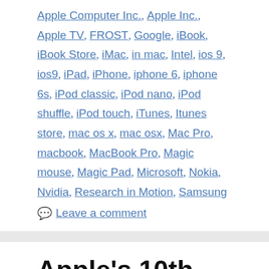Apple Computer Inc., Apple Inc., Apple TV, FROST, Google, iBook, iBook Store, iMac, in mac, Intel, ios 9, ios9, iPad, iPhone, iphone 6, iphone 6s, iPod classic, iPod nano, iPod shuffle, iPod touch, iTunes, Itunes store, mac os x, mac osx, Mac Pro, macbook, MacBook Pro, Magic mouse, Magic Pad, Microsoft, Nokia, Nvidia, Research in Motion, Samsung
Leave a comment
Apple's 10th-gen iPad rumored to shift from Thunder...